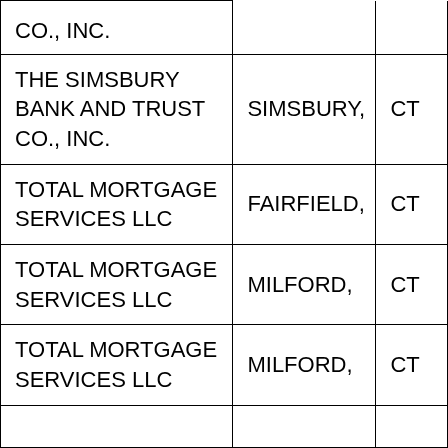| CO., INC. |  |  |
| THE SIMSBURY BANK AND TRUST CO., INC. | SIMSBURY, | CT |
| TOTAL MORTGAGE SERVICES LLC | FAIRFIELD, | CT |
| TOTAL MORTGAGE SERVICES LLC | MILFORD, | CT |
| TOTAL MORTGAGE SERVICES LLC | MILFORD, | CT |